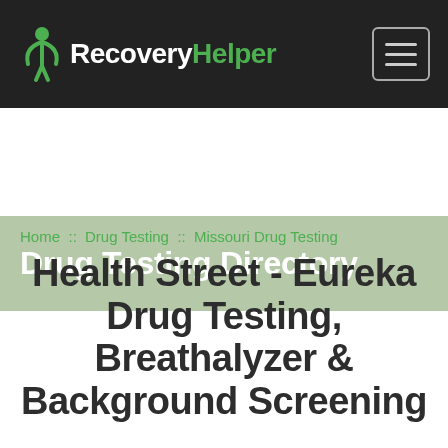RecoveryHelper
Drug Testing Directory
Home :: Drug Testing :: Missouri Drug Testing
Health Street - Eureka Drug Testing, Breathalyzer & Background Screening
[Figure (screenshot): Bottom portion of a card/widget area with two gray button icons visible at the bottom of the page]